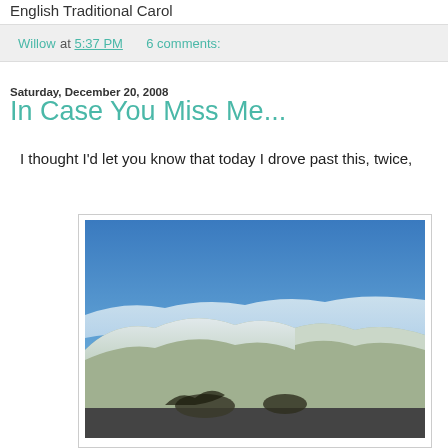English Traditional Carol
Willow at 5:37 PM    6 comments:
Saturday, December 20, 2008
In Case You Miss Me...
I thought I'd let you know that today I drove past this, twice,
[Figure (photo): Outdoor landscape photo showing snow-covered hills or mountains under a blue sky with some clouds or fog near the summits. A road is visible in the foreground.]